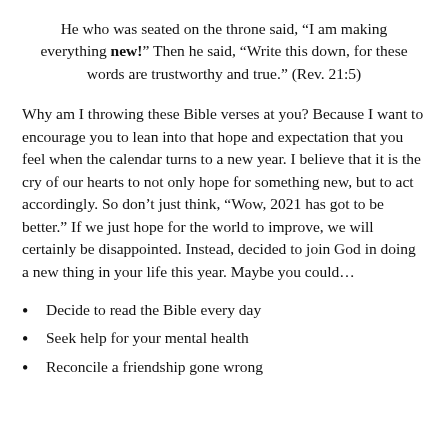He who was seated on the throne said, “I am making everything new!” Then he said, “Write this down, for these words are trustworthy and true.” (Rev. 21:5)
Why am I throwing these Bible verses at you? Because I want to encourage you to lean into that hope and expectation that you feel when the calendar turns to a new year. I believe that it is the cry of our hearts to not only hope for something new, but to act accordingly. So don’t just think, “Wow, 2021 has got to be better.” If we just hope for the world to improve, we will certainly be disappointed. Instead, decided to join God in doing a new thing in your life this year. Maybe you could…
Decide to read the Bible every day
Seek help for your mental health
Reconcile a friendship gone wrong